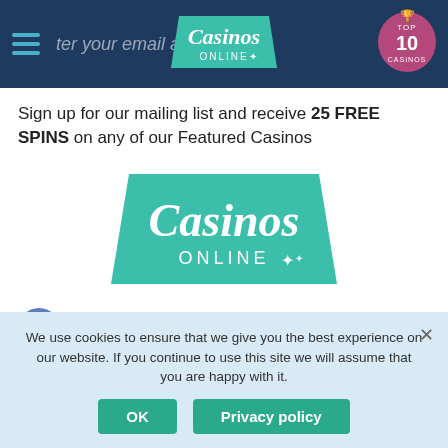Casinos Online — Top 10 Casinos
Sign up for our mailing list and receive 25 FREE SPINS on any of our Featured Casinos
[Figure (logo): Casinos Online logo — teal trapezoid shape with 'Casinos Online' text in white script]
[Figure (logo): Compliance logos row: 18+ badge, Gambling Commission, BeGambleAware, GamStop]
For all casino related promotions and bonuses.
18+ Only. Please gamble responsibly - BeGambleaware!
We use cookies to ensure that we give you the best experience on our website. If you continue to use this site we will assume that you are happy with it.